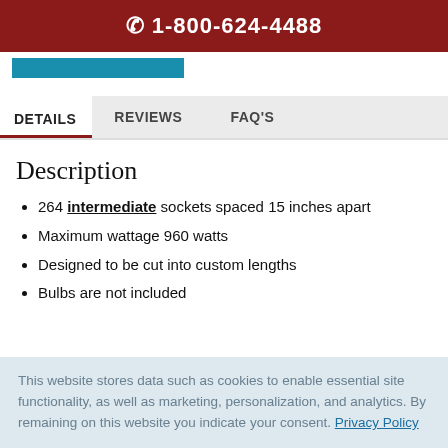☎ 1-800-624-4488
[Figure (other): Blue button/bar element partially visible]
DETAILS | REVIEWS | FAQ'S
Description
264 intermediate sockets spaced 15 inches apart
Maximum wattage 960 watts
Designed to be cut into custom lengths
Bulbs are not included
This website stores data such as cookies to enable essential site functionality, as well as marketing, personalization, and analytics. By remaining on this website you indicate your consent. Privacy Policy